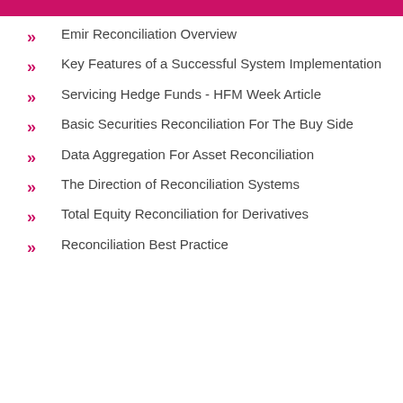Emir Reconciliation Overview
Key Features of a Successful System Implementation
Servicing Hedge Funds - HFM Week Article
Basic Securities Reconciliation For The Buy Side
Data Aggregation For Asset Reconciliation
The Direction of Reconciliation Systems
Total Equity Reconciliation for Derivatives
Reconciliation Best Practice